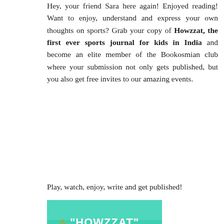Hey, your friend Sara here again! Enjoyed reading! Want to enjoy, understand and express your own thoughts on sports? Grab your copy of Howzzat, the first ever sports journal for kids in India and become an elite member of the Bookosmian club where your submission not only gets published, but you also get free invites to our amazing events.
Play, watch, enjoy, write and get published!
[Figure (illustration): Book cover of 'Howzzat' journal with teal/mint green background. Text reads '"HOWZZAT"' in white at top, 'Journal' in large yellow letters, 'for every' in dark red/maroon, 'young' in blue handwritten style, 'sports' in red block letters. Various sports equipment illustrated around the text including cricket ball, badminton racket, soccer ball, trophy, shoes.]